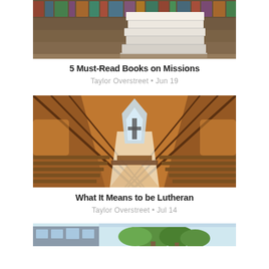[Figure (photo): Stack of books on a library shelf background]
5 Must-Read Books on Missions
Taylor Overstreet • Jun 19
[Figure (photo): Interior of a Lutheran church with wooden pews and A-frame ceiling]
What It Means to be Lutheran
Taylor Overstreet • Jul 14
[Figure (photo): Exterior of a building with trees]